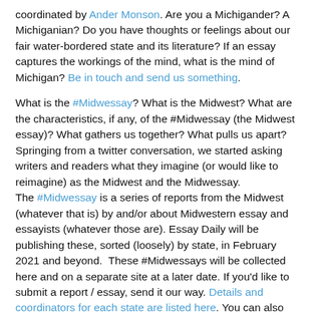coordinated by Ander Monson. Are you a Michigander? A Michiganian? Do you have thoughts or feelings about our fair water-bordered state and its literature? If an essay captures the workings of the mind, what is the mind of Michigan? Be in touch and send us something.
What is the #Midwessay? What is the Midwest? What are the characteristics, if any, of the #Midwessay (the Midwest essay)? What gathers us together? What pulls us apart? Springing from a twitter conversation, we started asking writers and readers what they imagine (or would like to reimagine) as the Midwest and the Midwessay. The #Midwessay is a series of reports from the Midwest (whatever that is) by and/or about Midwestern essay and essayists (whatever those are). Essay Daily will be publishing these, sorted (loosely) by state, in February 2021 and beyond. These #Midwessays will be collected here and on a separate site at a later date. If you'd like to submit a report / essay, send it our way. Details and coordinators for each state are listed here. You can also ping Ander (link at the upper right) if we don't list a coordinator yet for your state. —The Editors